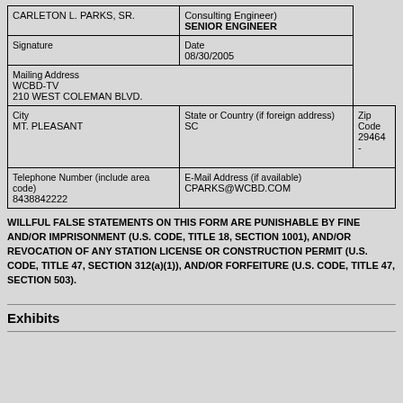| CARLETON L. PARKS, SR. | Consulting Engineer)
SENIOR ENGINEER |
| Signature | Date
08/30/2005 |
| Mailing Address
WCBD-TV
210 WEST COLEMAN BLVD. |  |
| City
MT. PLEASANT | State or Country (if foreign address)
SC | Zip Code
29464 - |
| Telephone Number (include area code)
8438842222 | E-Mail Address (if available)
CPARKS@WCBD.COM |
WILLFUL FALSE STATEMENTS ON THIS FORM ARE PUNISHABLE BY FINE AND/OR IMPRISONMENT (U.S. CODE, TITLE 18, SECTION 1001), AND/OR REVOCATION OF ANY STATION LICENSE OR CONSTRUCTION PERMIT (U.S. CODE, TITLE 47, SECTION 312(a)(1)), AND/OR FORFEITURE (U.S. CODE, TITLE 47, SECTION 503).
Exhibits